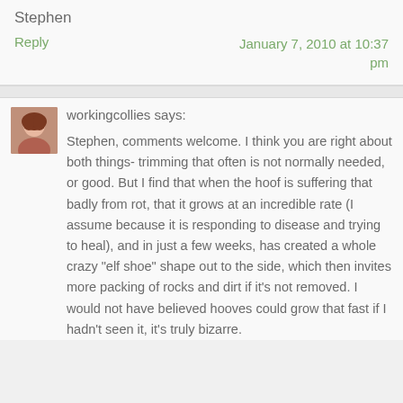Stephen
Reply	January 7, 2010 at 10:37 pm
workingcollies says:
Stephen, comments welcome. I think you are right about both things- trimming that often is not normally needed, or good. But I find that when the hoof is suffering that badly from rot, that it grows at an incredible rate (I assume because it is responding to disease and trying to heal), and in just a few weeks, has created a whole crazy "elf shoe" shape out to the side, which then invites more packing of rocks and dirt if it's not removed. I would not have believed hooves could grow that fast if I hadn't seen it, it's truly bizarre.